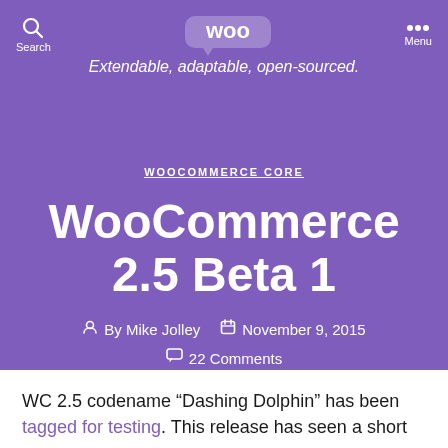[Figure (logo): WooCommerce logo (speech bubble shape) at top center of purple header]
Search  Extendable, adaptable, open-sourced.  Menu
WOOCOMMERCE CORE
WooCommerce 2.5 Beta 1
By Mike Jolley  November 9, 2015  22 Comments
WC 2.5 codename “Dashing Dolphin” has been tagged for testing. This release has seen a short